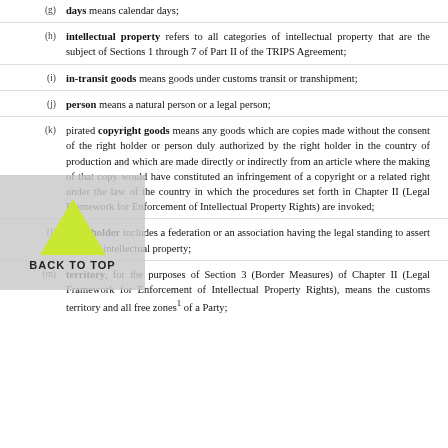(g) days means calendar days;
(h) intellectual property refers to all categories of intellectual property that are the subject of Sections 1 through 7 of Part II of the TRIPS Agreement;
(i) in-transit goods means goods under customs transit or transhipment;
(j) person means a natural person or a legal person;
(k) pirated copyright goods means any goods which are copies made without the consent of the right holder or person duly authorized by the right holder in the country of production and which are made directly or indirectly from an article where the making of that copy would have constituted an infringement of a copyright or a related right under the law of the country in which the procedures set forth in Chapter II (Legal Framework for Enforcement of Intellectual Property Rights) are invoked;
(l) right holder includes a federation or an association having the legal standing to assert rights in intellectual property;
(m) territory, for the purposes of Section 3 (Border Measures) of Chapter II (Legal Framework for Enforcement of Intellectual Property Rights), means the customs territory and all free zones¹ of a Party;